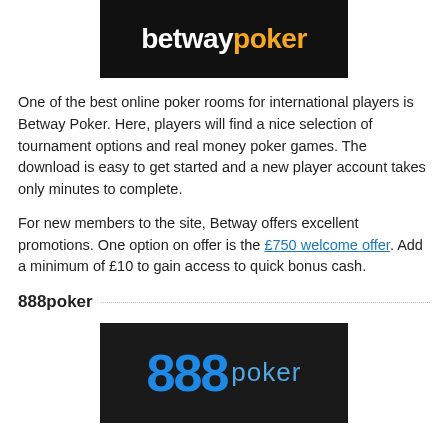[Figure (logo): Betway Poker logo — white text 'betway' and orange text 'poker' on black background]
One of the best online poker rooms for international players is Betway Poker. Here, players will find a nice selection of tournament options and real money poker games. The download is easy to get started and a new player account takes only minutes to complete.
For new members to the site, Betway offers excellent promotions. One option on offer is the £750 welcome offer. Add a minimum of £10 to gain access to quick bonus cash.
888poker
[Figure (logo): 888poker logo — blue '888' digits and light blue 'poker' text on dark background]